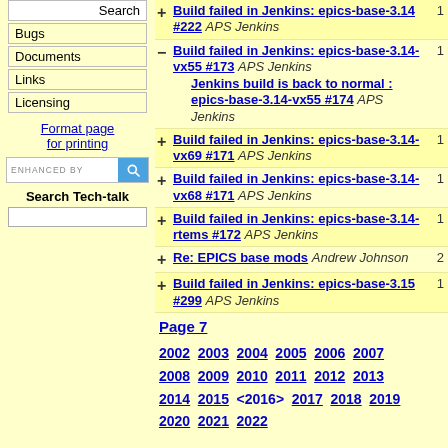Search
Bugs
Documents
Links
Licensing
Format page for printing
ENHANCED BY [search]
Search Tech-talk
+ Build failed in Jenkins: epics-base-3.14 #222 APS Jenkins 1
- Build failed in Jenkins: epics-base-3.14-vx55 #173 APS Jenkins
    Jenkins build is back to normal : epics-base-3.14-vx55 #174 APS Jenkins
+ Build failed in Jenkins: epics-base-3.14-vx69 #171 APS Jenkins 1
+ Build failed in Jenkins: epics-base-3.14-vx68 #171 APS Jenkins 1
+ Build failed in Jenkins: epics-base-3.14-rtems #172 APS Jenkins 1
+ Re: EPICS base mods Andrew Johnson 2
+ Build failed in Jenkins: epics-base-3.15 #299 APS Jenkins 1
Page 7
2002 2003 2004 2005 2006 2007 2008 2009 2010 2011 2012 2013 2014 2015 <2016> 2017 2018 2019 2020 2021 2022